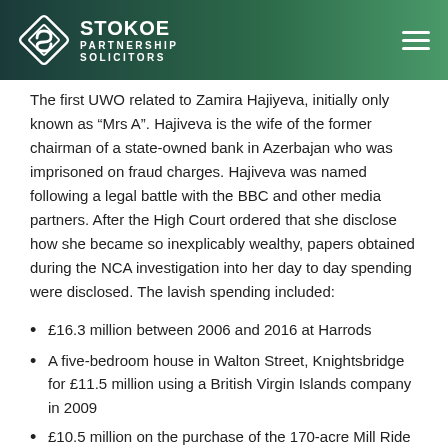STOKOE PARTNERSHIP SOLICITORS
The first UWO related to Zamira Hajiyeva, initially only known as “Mrs A”. Hajiveva is the wife of the former chairman of a state-owned bank in Azerbajan who was imprisoned on fraud charges. Hajiveva was named following a legal battle with the BBC and other media partners. After the High Court ordered that she disclose how she became so inexplicably wealthy, papers obtained during the NCA investigation into her day to day spending were disclosed. The lavish spending included:
£16.3 million between 2006 and 2016 at Harrods
A five-bedroom house in Walton Street, Knightsbridge for £11.5 million using a British Virgin Islands company in 2009
£10.5 million on the purchase of the 170-acre Mill Ride